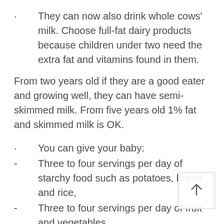They can now also drink whole cows' milk. Choose full-fat dairy products because children under two need the extra fat and vitamins found in them.
From two years old if they are a good eater and growing well, they can have semi-skimmed milk. From five years old 1% fat and skimmed milk is OK.
You can give your baby:
Three to four servings per day of starchy food such as potatoes, bread, and rice,
Three to four servings per day of fruit and vegetables,
Two servings per day of meat, fish, eggs and pulses (such as beans and